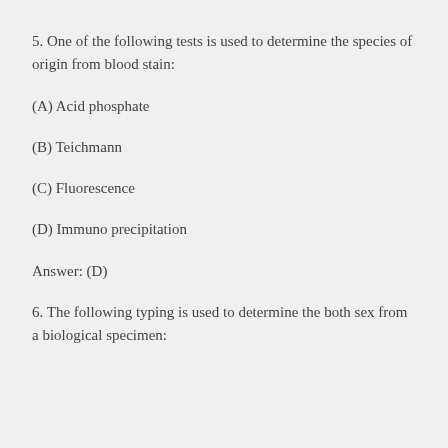5. One of the following tests is used to determine the species of origin from blood stain:
(A) Acid phosphate
(B) Teichmann
(C) Fluorescence
(D) Immuno precipitation
Answer: (D)
6. The following typing is used to determine the both sex from a biological specimen: